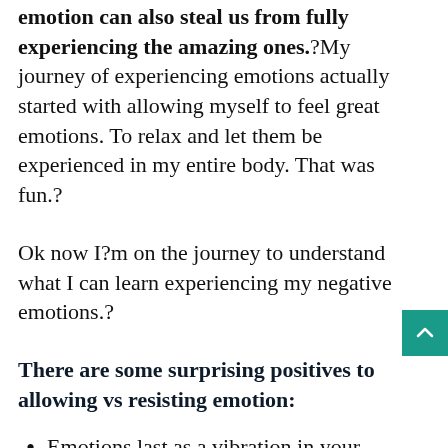emotion can also steal us from fully experiencing the amazing ones.?My journey of experiencing emotions actually started with allowing myself to feel great emotions. To relax and let them be experienced in my entire body. That was fun.?
Ok now I?m on the journey to understand what I can learn experiencing my negative emotions.?
There are some surprising positives to allowing vs resisting emotion:
Emotions last as a vibration in your body for 90 seconds (resistance...